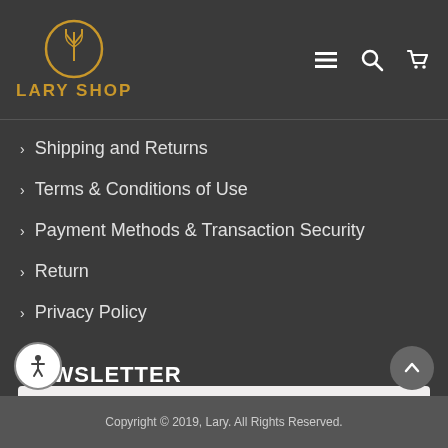[Figure (logo): Lary Shop logo with golden emblem and text LARY SHOP]
Shipping and Returns
Terms & Conditions of Use
Payment Methods & Transaction Security
Return
Privacy Policy
NEWSLETTER
This website uses cookies to ensure you get the best experience on our website.
Privacy Policy
Preferences
Accept
Close
Copyright © 2019, Lary. All Rights Reserved.